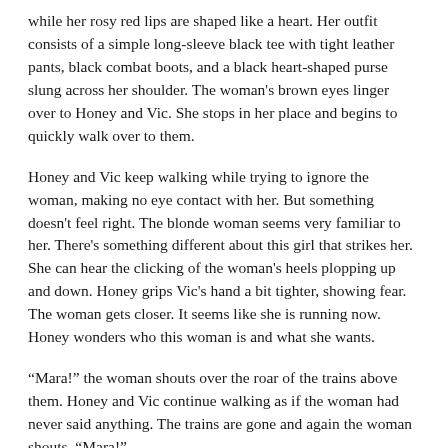while her rosy red lips are shaped like a heart. Her outfit consists of a simple long-sleeve black tee with tight leather pants, black combat boots, and a black heart-shaped purse slung across her shoulder. The woman's brown eyes linger over to Honey and Vic. She stops in her place and begins to quickly walk over to them.
Honey and Vic keep walking while trying to ignore the woman, making no eye contact with her. But something doesn't feel right. The blonde woman seems very familiar to her. There's something different about this girl that strikes her. She can hear the clicking of the woman's heels plopping up and down. Honey grips Vic's hand a bit tighter, showing fear. The woman gets closer. It seems like she is running now. Honey wonders who this woman is and what she wants.
“Mara!” the woman shouts over the roar of the trains above them. Honey and Vic continue walking as if the woman had never said anything. The trains are gone and again the woman shouts, “Mara!”